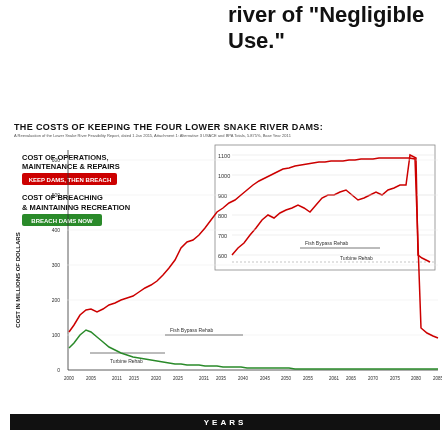strips category of a river of "Negligible Use."
THE COSTS OF KEEPING THE FOUR LOWER SNAKE RIVER DAMS:
A Reevaluation of the Lower Snake River Feasibility Report, dated 1 Jan 2015, Attachment 1: Alternative 3 USACE and BPA Totals, 5.875%, Base Year 2011
[Figure (line-chart): The Costs of Keeping the Four Lower Snake River Dams]
YEARS